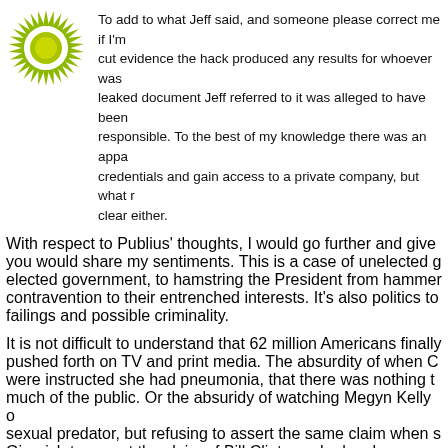[Figure (illustration): Green sunburst/starburst avatar icon with a yellow-green circle in the center on a white background]
To add to what Jeff said, and someone please correct me if I'm wrong, there's no cut evidence the hack produced any results for whoever was behind it. In the leaked document Jeff referred to it was alleged to have been and who was responsible. To the best of my knowledge there was an apparent attempt to steal credentials and gain access to a private company, but what resulted isn't clear either.
With respect to Publius' thoughts, I would go further and give you would share my sentiments. This is a case of unelected government, to hamstring the President from hammering contravention to their entrenched interests. It's also politics to failings and possible criminality.
It is not difficult to understand that 62 million Americans finally pushed forth on TV and print media. The absurdity of when C were instructed she had pneumonia, that there was nothing t much of the public. Or the absuridy of watching Megyn Kelly sexual predator, but refusing to assert the same claim when s Gingrich to repeat the claim of Bill Clinton, who has long been sexual misconduct.
I think it is now plainly evident that people no longer believe Washington and corporate boardrooms. Like Bill Ivey told Joh